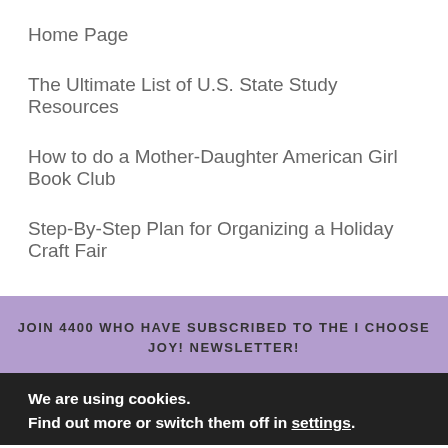Home Page
The Ultimate List of U.S. State Study Resources
How to do a Mother-Daughter American Girl Book Club
Step-By-Step Plan for Organizing a Holiday Craft Fair
JOIN 4400 WHO HAVE SUBSCRIBED TO THE I CHOOSE JOY! NEWSLETTER!
We are using cookies.
Find out more or switch them off in settings.
58 SHARES